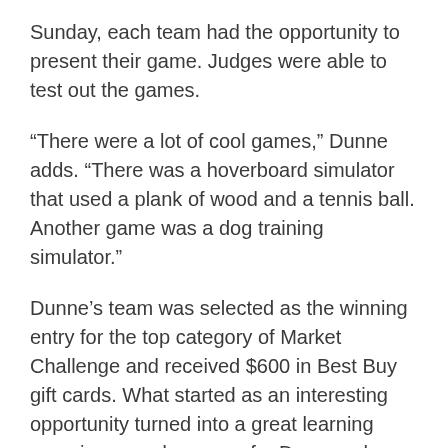Sunday, each team had the opportunity to present their game. Judges were able to test out the games.
“There were a lot of cool games,” Dunne adds. “There was a hoverboard simulator that used a plank of wood and a tennis ball. Another game was a dog training simulator.”
Dunne’s team was selected as the winning entry for the top category of Market Challenge and received $600 in Best Buy gift cards. What started as an interesting opportunity turned into a great learning experience and success for Dunne, who will likely continue to participate in future events and activities.
Categories: External Recognition, Newswire,